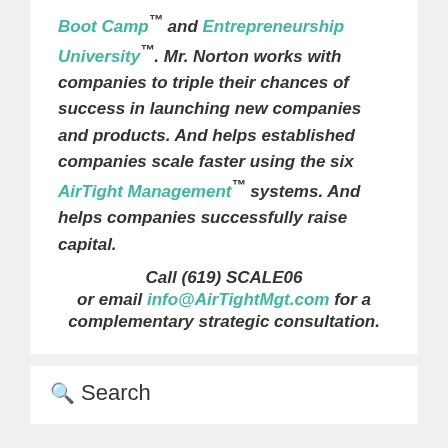Boot Camp™ and Entrepreneurship University™. Mr. Norton works with companies to triple their chances of success in launching new companies and products. And helps established companies scale faster using the six AirTight Management™ systems. And helps companies successfully raise capital. Call (619) SCALE06 or email info@AirTightMgt.com for a complementary strategic consultation.
Search